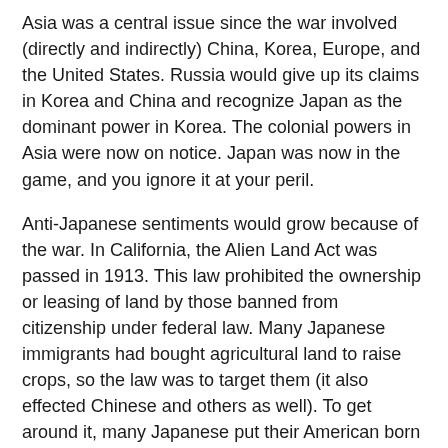Asia was a central issue since the war involved (directly and indirectly) China, Korea, Europe, and the United States. Russia would give up its claims in Korea and China and recognize Japan as the dominant power in Korea. The colonial powers in Asia were now on notice. Japan was now in the game, and you ignore it at your peril.
Anti-Japanese sentiments would grow because of the war. In California, the Alien Land Act was passed in 1913. This law prohibited the ownership or leasing of land by those banned from citizenship under federal law. Many Japanese immigrants had bought agricultural land to raise crops, so the law was to target them (it also effected Chinese and others as well). To get around it, many Japanese put their American born male children as owners. Such laws were common in many Western states. And legislatures enacted restrictions on that later as well. The U.S. Supreme Court declared such laws constitutional and would remain in force until the 1950's. Then they were either rescinded or made invalid when the Supreme Court